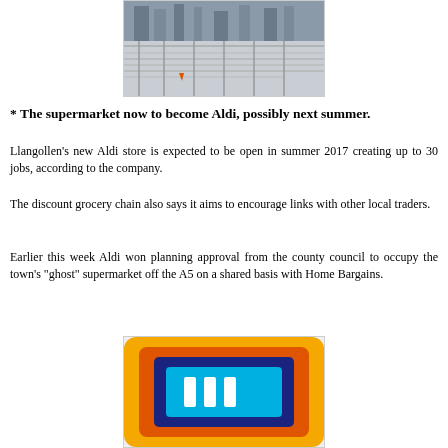[Figure (photo): Aerial or elevated view of a car park with metal barriers/railings, construction site area]
* The supermarket now to become Aldi, possibly next summer.
Llangollen's new Aldi store is expected to be open in summer 2017 creating up to 30 jobs, according to the company.
The discount grocery chain also says it aims to encourage links with other local traders.
Earlier this week Aldi won planning approval from the county council to occupy the town's "ghost" supermarket off the A5 on a shared basis with Home Bargains.
[Figure (photo): Aldi store logo sign with orange and blue colors on yellow background]